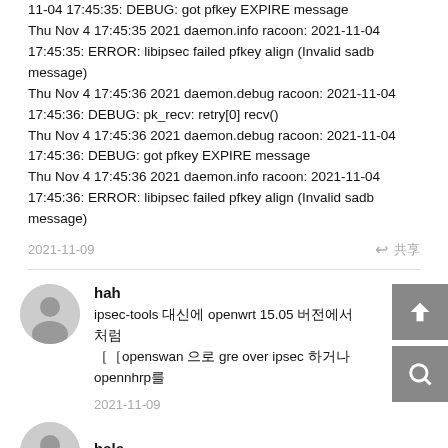11-04 17:45:35: DEBUG: got pfkey EXPIRE message
Thu Nov 4 17:45:35 2021 daemon.info racoon: 2021-11-04 17:45:35: ERROR: libipsec failed pfkey align (Invalid sadb message)
Thu Nov 4 17:45:36 2021 daemon.debug racoon: 2021-11-04 17:45:36: DEBUG: pk_recv: retry[0] recv()
Thu Nov 4 17:45:36 2021 daemon.debug racoon: 2021-11-04 17:45:36: DEBUG: got pfkey EXPIRE message
Thu Nov 4 17:45:36 2021 daemon.info racoon: 2021-11-04 17:45:36: ERROR: libipsec failed pfkey align (Invalid sadb message)
2021-11-09
hah
ipsec-tools 대신에 openwrt 15.05 버전에서처럼 openswan 으로 gre over ipsec 하거나opennhrp를
2021-11-09
hale